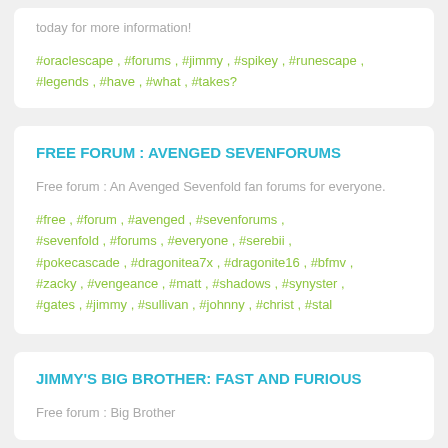today for more information!
#oraclescape , #forums , #jimmy , #spikey , #runescape , #legends , #have , #what , #takes?
FREE FORUM : AVENGED SEVENFORUMS
Free forum : An Avenged Sevenfold fan forums for everyone.
#free , #forum , #avenged , #sevenforums , #sevenfold , #forums , #everyone , #serebii , #pokecascade , #dragonitea7x , #dragonite16 , #bfmv , #zacky , #vengeance , #matt , #shadows , #synyster , #gates , #jimmy , #sullivan , #johnny , #christ , #stal
JIMMY'S BIG BROTHER: FAST AND FURIOUS
Free forum : Big Brother